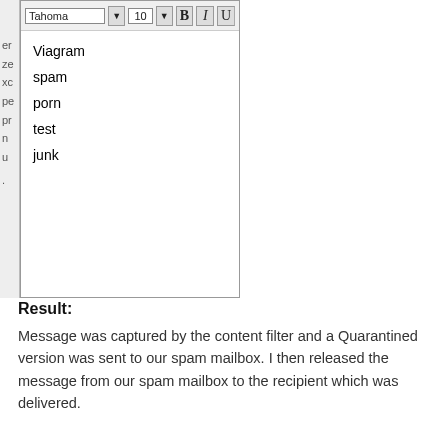[Figure (screenshot): Screenshot of an email editor toolbar showing Tahoma font, size 10, Bold and Italic buttons, and a listbox with words: Viagram, spam, porn, test, junk. Left side shows partial letters of a sidebar.]
Result:
Message was captured by the content filter and a Quarantined version was sent to our spam mailbox. I then released the message from our spam mailbox to the recipient which was delivered.
** To release a messsage from the spam mailbox you open the message and click send again **
[Figure (screenshot): Screenshot of a web interface showing an address bar with https://mail.vm.local/?ae= and a toolbar with Send Again and Forward buttons, and a message subject 'Undeliverable: spam']
IP Allow List
IP Allow lists are not configurable at the Org level, this